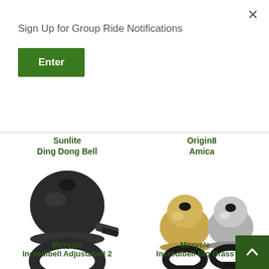Sign Up for Group Ride Notifications
Enter
×
Sunlite
Ding Dong Bell
[Figure (photo): Photo of a black Sunlite Ding Dong bicycle bell with handlebar mount]
Origin8
Amica
[Figure (photo): Photo of two small Origin8 Amica bicycle bells, one gold-topped and one silver-topped, both with black mounts]
Mirrycle
Incredbell Adjustabell 2
Mirrycle
Incredbell Big Brass